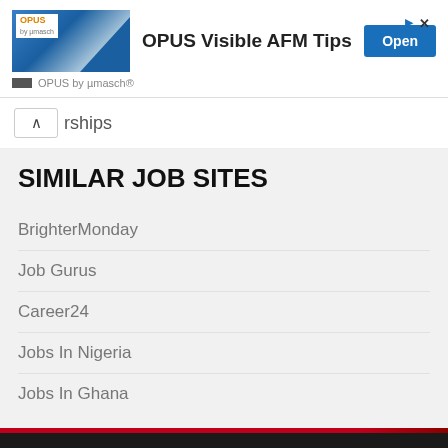[Figure (illustration): Advertisement banner for OPUS Visible AFM Tips by µmasch, with blue product image, Open button, and corner navigation icons]
rships
SIMILAR JOB SITES
BrighterMonday
Job Gurus
Career24
Jobs In Nigeria
Jobs In Ghana
© 2020 - 2022 JobSearch South Africa - Jobs In South Africa
Powered by Yaks Baker